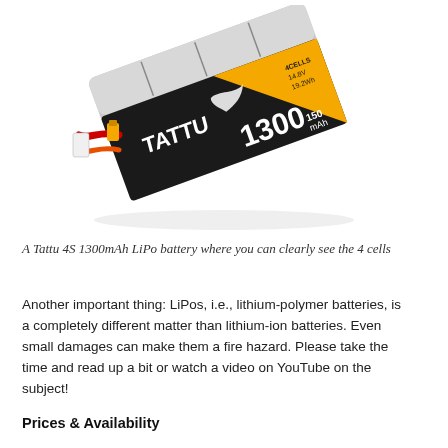[Figure (photo): A Tattu 4S 1300mAh LiPo battery with orange and black casing, showing 4 cells, with red and yellow connector wires]
A Tattu 4S 1300mAh LiPo battery where you can clearly see the 4 cells
Another important thing: LiPos, i.e., lithium-polymer batteries, is a completely different matter than lithium-ion batteries. Even small damages can make them a fire hazard. Please take the time and read up a bit or watch a video on YouTube on the subject!
Prices & Availability